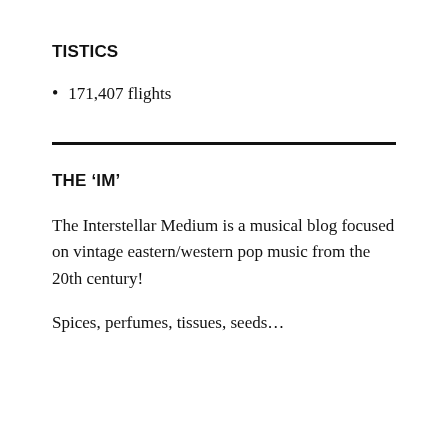TISTICS
171,407 flights
THE ‘IM’
The Interstellar Medium is a musical blog focused on vintage eastern/western pop music from the 20th century!
Spices, perfumes, tissues, seeds…